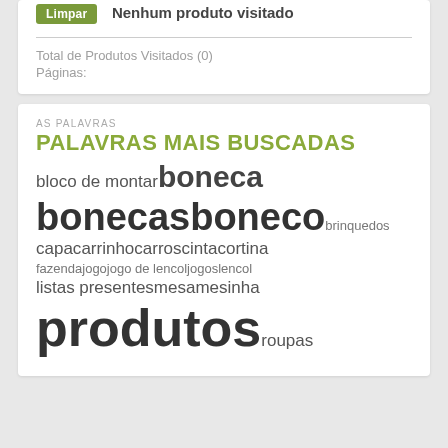Limpar
Nenhum produto visitado
Total de Produtos Visitados (0)
Páginas:
AS PALAVRAS
PALAVRAS MAIS BUSCADAS
[Figure (infographic): Word cloud showing most searched words: boneca (large), bonecas, boneco (large), brinquedos (small), bloco de montar (medium), capac, arrinho, carros, cinta, cortina (medium), fazenda, jogo, jogo de lencol, jogos, lencol (medium), listas, presentes, mesa, mesinha (medium), produtos (very large), roupas (medium)]